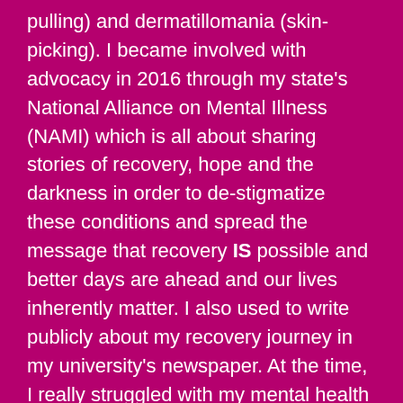pulling) and dermatillomania (skin-picking). I became involved with advocacy in 2016 through my state's National Alliance on Mental Illness (NAMI) which is all about sharing stories of recovery, hope and the darkness in order to de-stigmatize these conditions and spread the message that recovery IS possible and better days are ahead and our lives inherently matter. I also used to write publicly about my recovery journey in my university's newspaper. At the time, I really struggled with my mental health and trying to find peace and freedom and over the course of three years I was hospitalized for suicidal ideation 12 times. The longest I went being hospital free was in 2016 for 9 months. I relapsed and in 2017 was hospitalized a total of 5 times. I've made three minor attempts on my life and one moderate one.